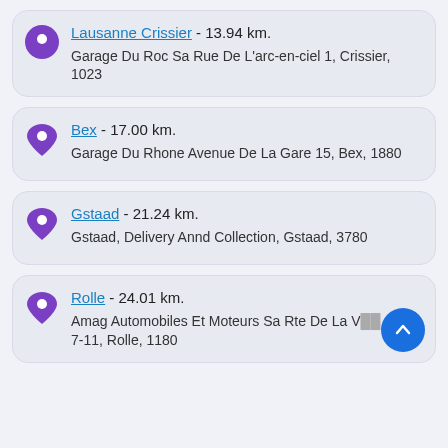Lausanne Crissier - 13.94 km. Garage Du Roc Sa Rue De L'arc-en-ciel 1, Crissier, 1023
Bex - 17.00 km. Garage Du Rhone Avenue De La Gare 15, Bex, 1880
Gstaad - 21.24 km. Gstaad, Delivery Annd Collection, Gstaad, 3780
Rolle - 24.01 km. Amag Automobiles Et Moteurs Sa Rte De La V... 7-11, Rolle, 1180